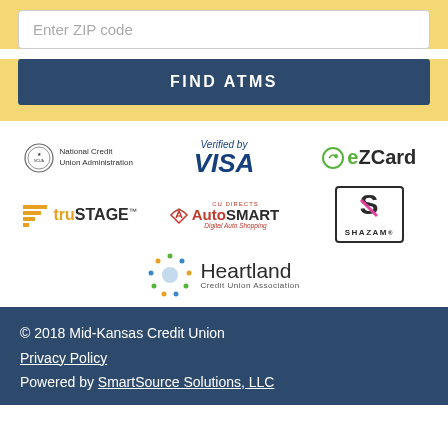Enter ZIP code
FIND ATMS
[Figure (logo): National Credit Union Administration seal and text logo]
[Figure (logo): Verified by VISA logo]
[Figure (logo): eZCard logo]
[Figure (logo): truSTAGE logo]
[Figure (logo): CU Direct AutoSMART Digital Auto Shopping logo]
[Figure (logo): SHAZAM logo]
[Figure (logo): Heartland Credit Union Association logo]
© 2018 Mid-Kansas Credit Union
Privacy Policy
Powered by SmartSource Solutions, LLC